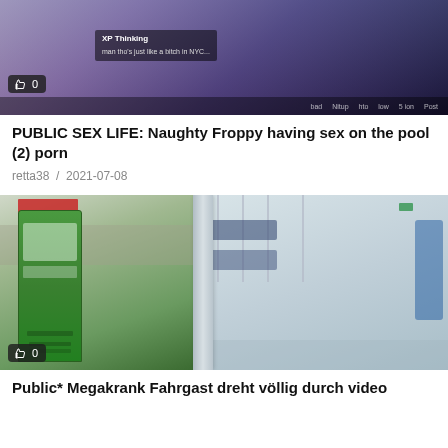[Figure (screenshot): Thumbnail image of anime/cartoon scene with dark overlay, text overlay reading 'XP Thinking' and subtitle, bottom bar with navigation items, like badge showing 0]
PUBLIC SEX LIFE: Naughty Froppy having sex on the pool (2) porn
retta38 / 2021-07-08
[Figure (photo): Two-panel photo: left side shows a green ticket machine at a tram/bus stop exterior; right shows interior of a tram/train with blue seats. Like badge showing 0.]
Public* Megakrank Fahrgast dreht völlig durch video